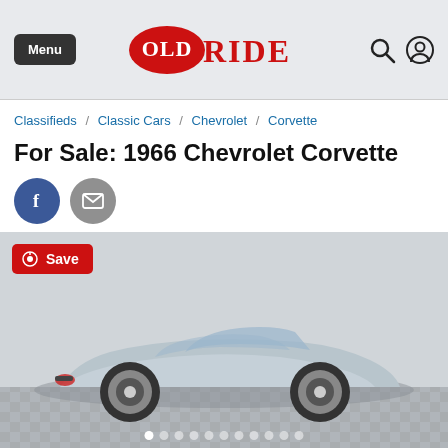OldRide — Menu | Search | Account
Classifieds / Classic Cars / Chevrolet / Corvette
For Sale: 1966 Chevrolet Corvette
Facebook share | Email share
[Figure (photo): 1966 Chevrolet Corvette convertible in light blue/silver color, parked on a checkered floor in a showroom, three-quarter front view. A red Pinterest Save badge is in the upper left. Carousel pagination dots appear at the bottom.]